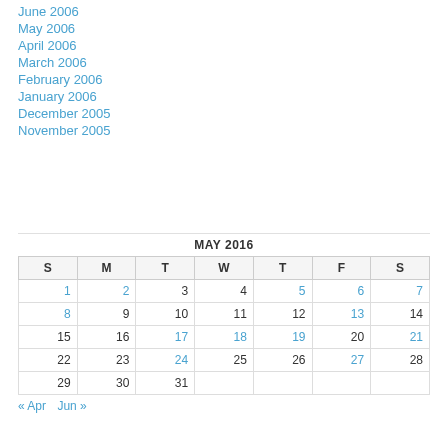June 2006
May 2006
April 2006
March 2006
February 2006
January 2006
December 2005
November 2005
| S | M | T | W | T | F | S |
| --- | --- | --- | --- | --- | --- | --- |
| 1 | 2 | 3 | 4 | 5 | 6 | 7 |
| 8 | 9 | 10 | 11 | 12 | 13 | 14 |
| 15 | 16 | 17 | 18 | 19 | 20 | 21 |
| 22 | 23 | 24 | 25 | 26 | 27 | 28 |
| 29 | 30 | 31 |  |  |  |  |
« Apr   Jun »